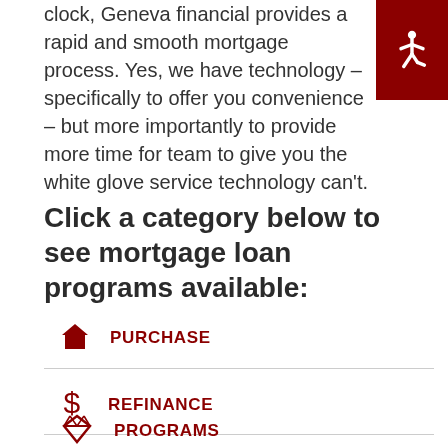clock, Geneva financial provides a rapid and smooth mortgage process. Yes, we have technology – specifically to offer you convenience – but more importantly to provide more time for team to give you the white glove service technology can't.
[Figure (illustration): Dark red accessibility icon button in top right corner showing wheelchair symbol in white on dark red background]
Click a category below to see mortgage loan programs available:
PURCHASE
REFINANCE
PROGRAMS